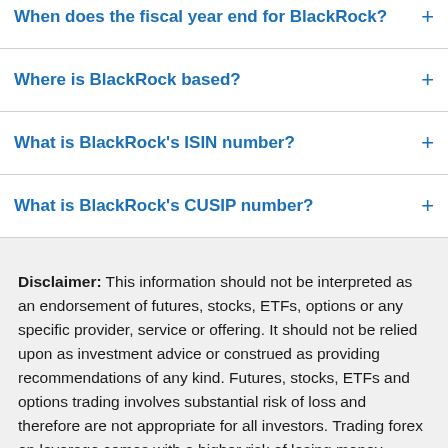When does the fiscal year end for BlackRock?
Where is BlackRock based?
What is BlackRock's ISIN number?
What is BlackRock's CUSIP number?
Disclaimer: This information should not be interpreted as an endorsement of futures, stocks, ETFs, options or any specific provider, service or offering. It should not be relied upon as investment advice or construed as providing recommendations of any kind. Futures, stocks, ETFs and options trading involves substantial risk of loss and therefore are not appropriate for all investors. Trading forex on leverage comes with a higher risk of losing money rapidly. Past performance is